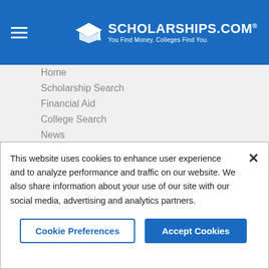SCHOLARSHIPS.COM® — You Find Money. Colleges Find You.
Home
Scholarship Search
Financial Aid
College Search
News
Student Resources
Educators
Submit A Scholarship
In the News
Success Stories
This website uses cookies to enhance user experience and to analyze performance and traffic on our website. We also share information about your use of our site with our social media, advertising and analytics partners.
Cookie Preferences | Accept Cookies